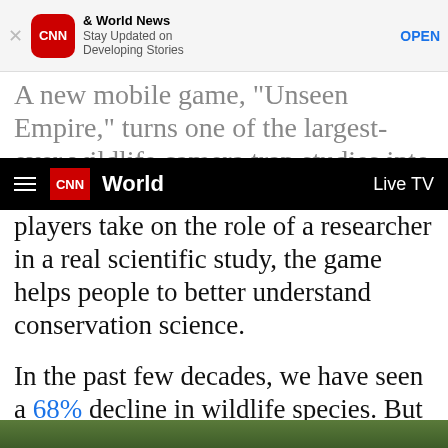CNN World News – Stay Updated on Developing Stories – OPEN
A new mobile game, "Unseen Empire," turns one of the largest-ever wildlife camera trap studies into a
CNN World | Live TV
players take on the role of a researcher in a real scientific study, the game helps people to better understand conservation science.
In the past few decades, we have seen a 68% decline in wildlife species. But when it comes to funding conservation, there is an estimated shortfall of up to $824 billion per year in what is needed to reverse the decline in biodiversity by 2030, according to a recent report.
[Figure (photo): Green vegetation/landscape image strip at the bottom of the page]